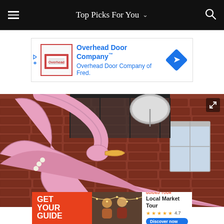Top Picks For You
[Figure (screenshot): Advertisement banner for Overhead Door Company with blue text and diamond logo]
[Figure (photo): Large pink flamingo sculpture in foreground with brick building and fire escape in background]
[Figure (screenshot): GetYourGuide advertisement banner for Local Market Tour with orange background, rating 4.7 stars, and Discover now button]